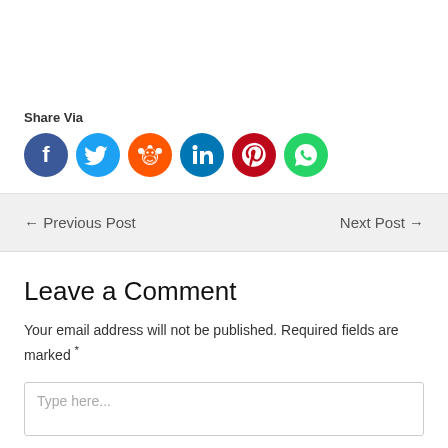Share Via
[Figure (infographic): Social media share icons: Facebook (dark blue), Twitter (light blue), Reddit (orange), LinkedIn (dark teal), Pinterest (dark red), WhatsApp (green)]
← Previous Post
Next Post →
Leave a Comment
Your email address will not be published. Required fields are marked *
Type here...